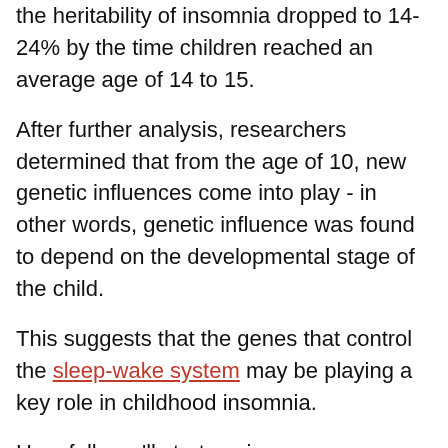the heritability of insomnia dropped to 14-24% by the time children reached an average age of 14 to 15.
After further analysis, researchers determined that from the age of 10, new genetic influences come into play - in other words, genetic influence was found to depend on the developmental stage of the child.
This suggests that the genes that control the sleep-wake system may be playing a key role in childhood insomnia.
Hopefully we'll start seeing some additional research in this area before too long.